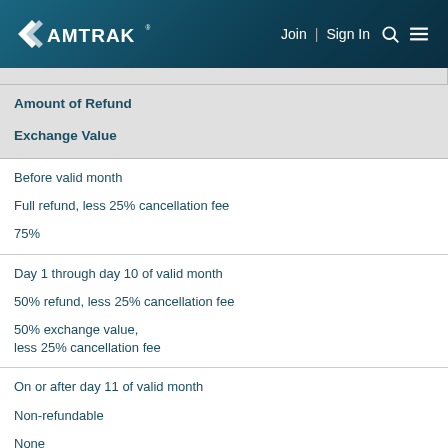Amtrak — Join | Sign In
| When | Amount of Refund | Exchange Value |
| --- | --- | --- |
| Before valid month | Full refund, less 25% cancellation fee | 75% |
| Day 1 through day 10 of valid month | 50% refund, less 25% cancellation fee | 50% exchange value, less 25% cancellation fee |
| On or after day 11 of valid month | Non-refundable | None |